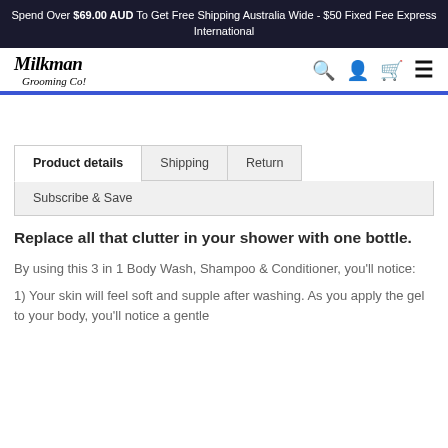Spend Over $69.00 AUD To Get Free Shipping Australia Wide - $50 Fixed Fee Express International
[Figure (logo): Milkman Grooming Co! logo with navigation icons (search, account, cart, menu)]
Product details | Shipping | Return | Subscribe & Save
Replace all that clutter in your shower with one bottle.
By using this 3 in 1 Body Wash, Shampoo & Conditioner, you'll notice:
1) Your skin will feel soft and supple after washing. As you apply the gel to your body, you'll notice a gentle